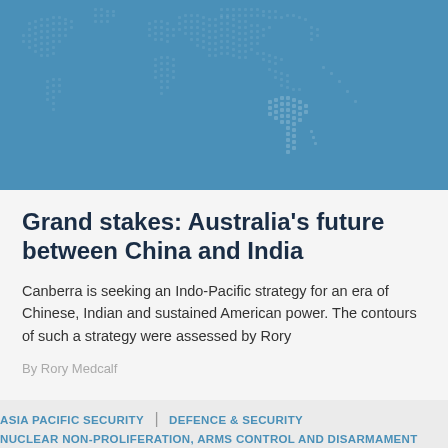[Figure (illustration): Blue world map banner with dotted/stippled continents on a blue background, showing Asia-Pacific region prominently]
Grand stakes: Australia's future between China and India
Canberra is seeking an Indo-Pacific strategy for an era of Chinese, Indian and sustained American power. The contours of such a strategy were assessed by Rory
By Rory Medcalf
ASIA PACIFIC SECURITY | DEFENCE & SECURITY NUCLEAR NON-PROLIFERATION, ARMS CONTROL AND DISARMAMENT
15 SEP 11